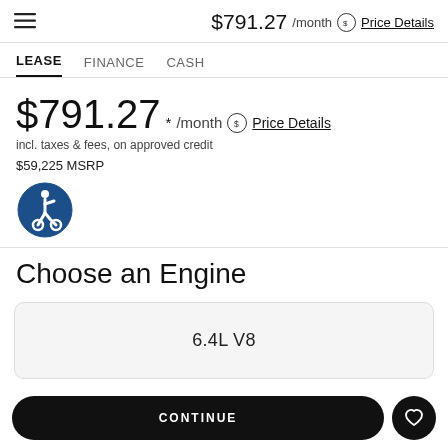$791.27 /month ⊕ Price Details
LEASE  FINANCE  CASH
$791.27* /month ⊕ Price Details
incl. taxes & fees, on approved credit
$59,225 MSRP
[Figure (illustration): Accessibility icon — person in wheelchair in a blue circle]
Choose an Engine
6.4L V8
CONTINUE